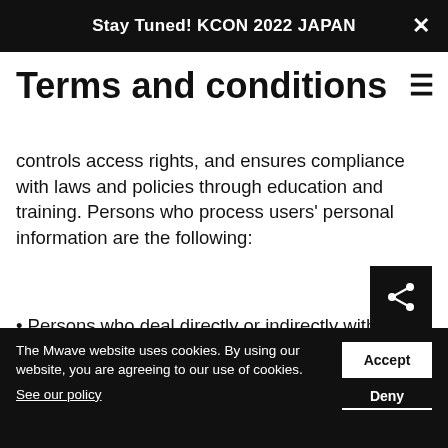Stay Tuned! KCON 2022 JAPAN
Terms and conditions
controls access rights, and ensures compliance with laws and policies through education and training. Persons who process users' personal information are the following:
Persons who deal directly or indirectly with users as they handle business;
The data protection officer, responsible person, and others engaged in personal information management and protection duties; and
[Figure (other): Share button icon — black square with white share/network icon]
The Mwave website uses cookies. By using our website, you are agreeing to our use of cookies. See our policy
Accept
Deny